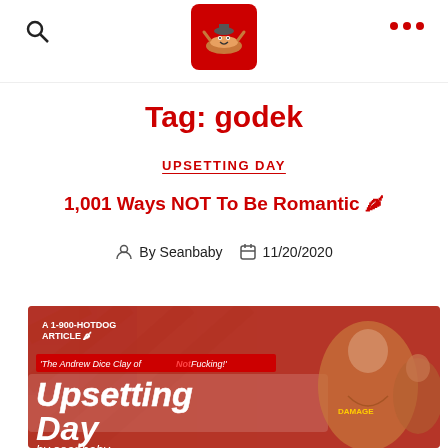1-900-HOTDOG site header with search icon, logo, and menu dots
Tag: godek
UPSETTING DAY
1,001 Ways NOT To Be Romantic 🌶
By Seanbaby  11/20/2020
[Figure (illustration): Book/article cover image for 'Upsetting Day by seanbaby' with text 'The Andrew Dice Clay of Not Fucking!' and 'A 1-900-HOTDOG ARTICLE' on a red background with illustrated muscular characters]